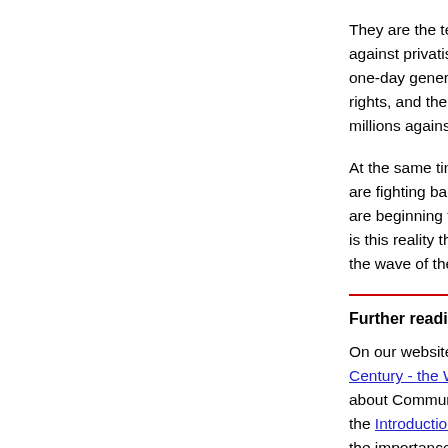They are the ten million Indian workers who took strike action against privatisation. They are the workers in Spain who called a one-day general strike against attacks on unemployment rights, and the workers in Italy who have mobilised in their millions against the right-wing government of Silvio B
At the same time as the poor and oppressed of entire... are fighting back against the effects of capitalism, a m... are beginning to consciously look for an alternative sy... is this reality that ensures that socialism isn't a spent ... the wave of the future."
Further reading:
On our website, we recommend Socialism in the Twe... Century - the Way Forward for Anti-Capitalism. For qu... about Communism, we recommend What About Russ... the Introduction to the Communist Manifesto further e... the importance of the ideas of Karl Marx today.
Finally, How a Socialist Economy Would Work explai... socialist planned economy, which would plan to utilise... and natural recourses in a non-destructive non-waste... leading to a massive increase in permanent well bein...
Socialist countries: Soci...